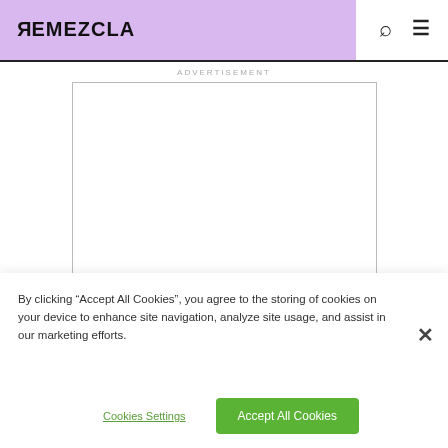REMEZCLA
ADVERTISEMENT
[Figure (other): Blank advertisement placeholder box with thin border]
By clicking “Accept All Cookies”, you agree to the storing of cookies on your device to enhance site navigation, analyze site usage, and assist in our marketing efforts.
Cookies Settings
Accept All Cookies